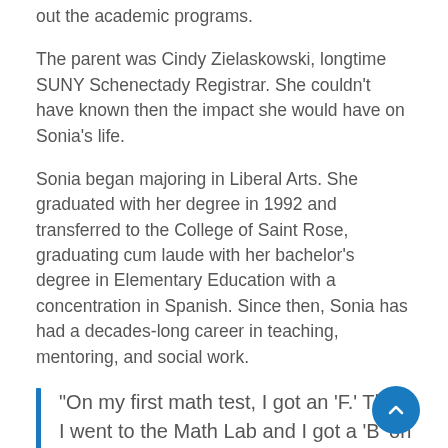out the academic programs.
The parent was Cindy Zielaskowski, longtime SUNY Schenectady Registrar. She couldn't have known then the impact she would have on Sonia's life.
Sonia began majoring in Liberal Arts. She graduated with her degree in 1992 and transferred to the College of Saint Rose, graduating cum laude with her bachelor's degree in Elementary Education with a concentration in Spanish. Since then, Sonia has had a decades-long career in teaching, mentoring, and social work.
“On my first math test, I got an ‘F.’ Then I went to the Math Lab and I got a ‘B’ on my algebra test. I used any of the resources at the College that I could, anything that was going to help me get to the next step. The